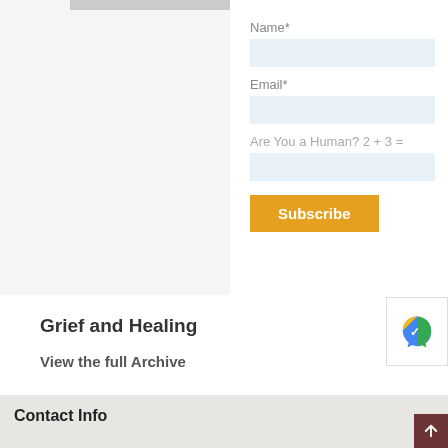[Figure (screenshot): Gray bar image at top left of page, partial UI element]
Name*
Email*
Are You a Human? 2 + 3 =
Subscribe
Grief and Healing
View the full Archive
Contact Info